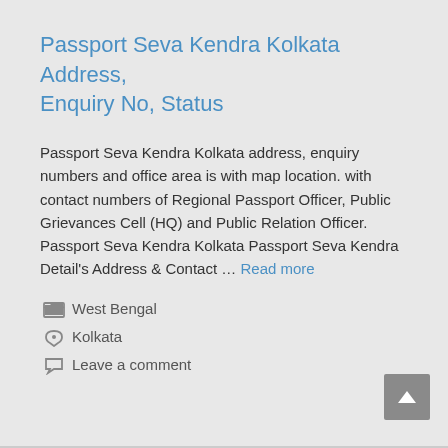Passport Seva Kendra Kolkata Address, Enquiry No, Status
Passport Seva Kendra Kolkata address, enquiry numbers and office area is with map location. with contact numbers of Regional Passport Officer, Public Grievances Cell (HQ) and Public Relation Officer. Passport Seva Kendra Kolkata Passport Seva Kendra Detail's Address & Contact … Read more
West Bengal
Kolkata
Leave a comment